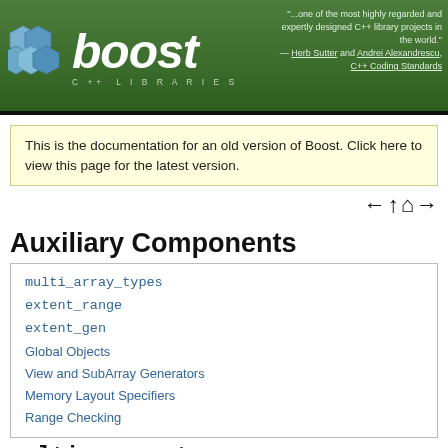boost C++ Libraries — "...one of the most highly regarded and expertly designed C++ library projects in the world." — Herb Sutter and Andrei Alexandrescu, C++ Coding Standards
This is the documentation for an old version of Boost. Click here to view this page for the latest version.
Auxiliary Components
multi_array_types
extent_range
extent_gen
Global Objects
View and SubArray Generators
Memory Layout Specifiers
Range Checking
multi_array_types